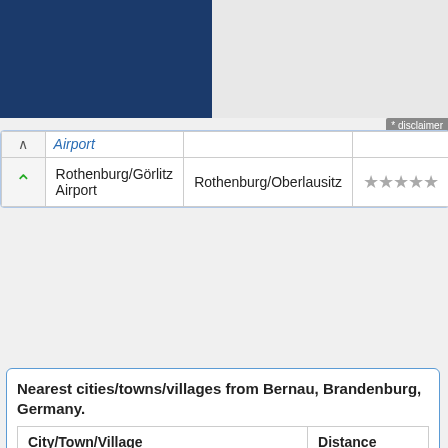[Figure (screenshot): Top portion of a webpage showing a dark blue logo/header box on the left, a partial table row with collapse arrows and 'Rothenburg/Görlitz Airport' and 'Rothenburg/Oberlausitz' cells, star rating icons, and a disclaimer badge in top right.]
| City/Town/Village | Distance |
| --- | --- |
| Bernau(Brandenburg) | 0 km |
| Buch(Berlin) | 6.83 km |
| Karow(Berlin) | 9.41 km |
| Werneuchen(Brandenburg) | 10.78 km |
| Falkenberg(Berlin) | 11.26 km |
| Malchow(Berlin) | 11.49 km |
| Mallersfelde(Berlin) | 11.84 km |